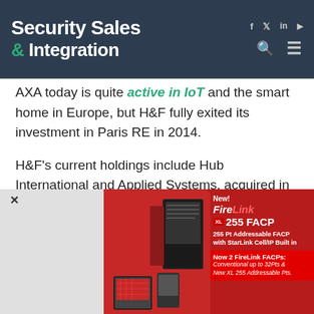Security Sales & Integration
AXA today is quite active in IoT and the smart home in Europe, but H&F fully exited its investment in Paris RE in 2014.
H&F's current holdings include Hub International and Applied Systems, acquired in 2013 and 2014, respectively.
Applied systems is a leading provider of insurance software, facilitating data exchange between
[Figure (other): Advertisement banner for FireLink XL 255 FACP showing firefighters and product image. Text: New! FireLink XL 255 FACP, 255 Pt Addressable FACP with StarLink Cell/IP Built in, Now 2 FireLink FACPs: Conventional up to 32Pts & New XL 255 Addressable Pts.]